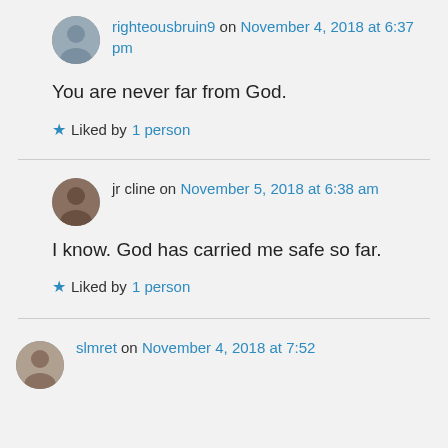righteousbruin9 on November 4, 2018 at 6:37 pm
You are never far from God.
Liked by 1 person
jr cline on November 5, 2018 at 6:38 am
I know. God has carried me safe so far.
Liked by 1 person
slmret on November 4, 2018 at 7:52